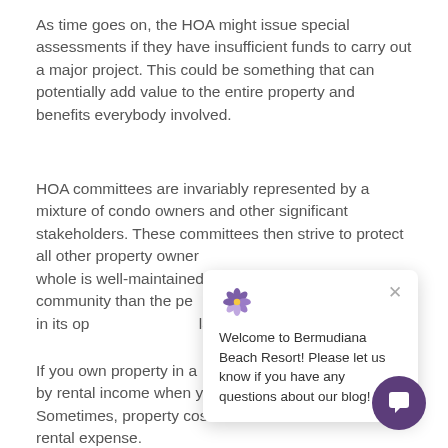As time goes on, the HOA might issue special assessments if they have insufficient funds to carry out a major project. This could be something that can potentially add value to the entire property and benefits everybody involved.
HOA committees are invariably represented by a mixture of condo owners and other significant stakeholders. These committees then strive to protect all other property owners, ensure the community as a whole is well-maintained, and act as a de facto community than the people who are directly involved in its operations. Like a landlord you'll never see.
[Figure (screenshot): Chat popup from Bermudiana Beach Resort with logo, close button, and text: Welcome to Bermudiana Beach Resort! Please let us know if you have any questions about our blog!]
[Figure (illustration): Purple circular chat button with white speech bubble icon in bottom right corner.]
If you own property in a resort, costs could be covered by rental income when you are not in residence. Sometimes, property costs can be tax-deductible as a rental expense.